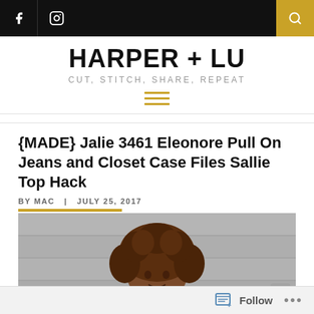Harper + Lu — CUT, STITCH, SHARE, REPEAT
{MADE} Jalie 3461 Eleonore Pull On Jeans and Closet Case Files Sallie Top Hack
BY MAC  |  JULY 25, 2017
[Figure (photo): Close-up portrait of a woman with curly auburn hair, photographed outdoors against a light grey wooden fence background.]
Follow